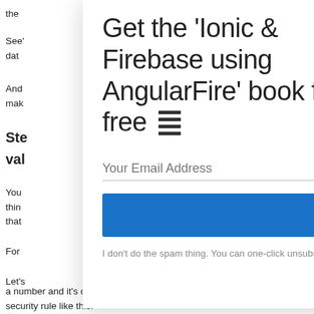the
See' our dat
our
And mak
Ste val
You thin that
For
Let's is a number and it's over 18, then you can write a security rule like this:
Get the 'Ionic & Firebase using AngularFire' book for free
Your Email Address
Send me the book
I don't do the spam thing. You can one-click unsubscribe any time.
BUILT WITH ConvertKit